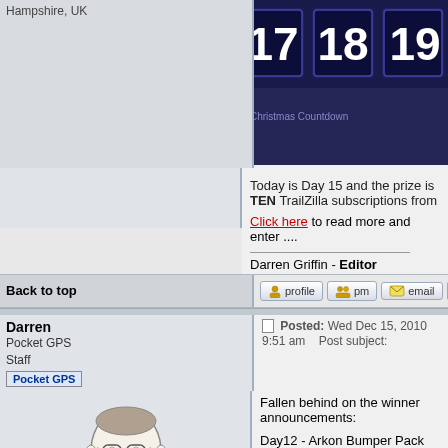Hampshire, UK
[Figure (screenshot): Calendar advent-style image showing days 17, 18, 19 with dark blue/purple background and large white numbers]
Today is Day 15 and the prize is TEN TrailZilla subscriptions from
Click here to read more and enter ....
Darren Griffin - Editor
Back to top
[Figure (screenshot): Forum action buttons: profile, pm, email, www]
Darren
Pocket GPS Staff
Posted: Wed Dec 15, 2010 9:51 am    Post subject:
[Figure (illustration): Avatar illustration of man with glasses, sketch style]
Joined: 11/07/2002 14:36:40
Posts: 23848
Location: Hampshire, UK
Fallen behind on the winner announcements:

Day12 - Arkon Bumper Pack
Winner: John Wild - 'BONGSMAN'

Day 13 - Brodit BB9000 Cradle
Winner: Malcolm Brady - 'mally1957'

Day 14 - OtterBox Case
Winner: Jenny Moore - 'bjennymoore'